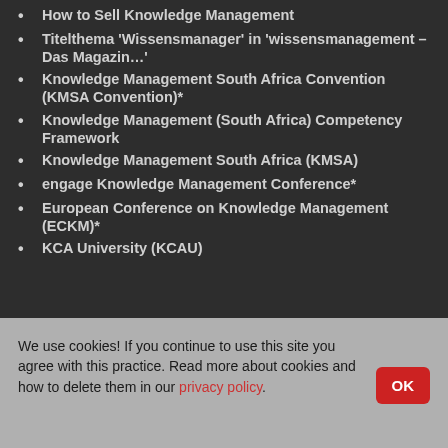How to Sell Knowledge Management
Titelthema 'Wissensmanager' in 'wissensmanagement – Das Magazin…'
Knowledge Management South Africa Convention (KMSA Convention)*
Knowledge Management (South Africa) Competency Framework
Knowledge Management South Africa (KMSA)
engage Knowledge Management Conference*
European Conference on Knowledge Management (ECKM)*
KCA University (KCAU)
We use cookies! If you continue to use this site you agree with this practice. Read more about cookies and how to delete them in our privacy policy.